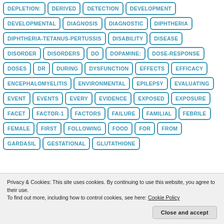DEPLETION:
DERIVED
DETECTION
DEVELOPMENT
DEVELOPMENTAL
DIAGNOSIS
DIAGNOSTIC
DIPHTHERIA
DIPHTHERIA-TETANUS-PERTUSSIS
DISABILITY
DISEASE
DISORDER
DISORDERS
DO
DOPAMINE:
DOSE-RESPONSE
DOSES
DR
DURING
DYSFUNCTION
EFFECTS
EFFICACY
ENCEPHALOMYELITIS
ENVIRONMENTAL
EPILEPSY
EVALUATING
EVENT
EVENTS
EVERY
EVIDENCE
EXPOSED
EXPOSURE
FACET
FACTOR-1
FACTORS
FAILURE
FAMILIAL
FEBRILE
FEMALE
FIRST
FOLLOWING
FOOD
FOR
FROM
GARDASIL
GESTATIONAL
GLUTATHIONE
Privacy & Cookies: This site uses cookies. By continuing to use this website, you agree to their use.
To find out more, including how to control cookies, see here: Cookie Policy